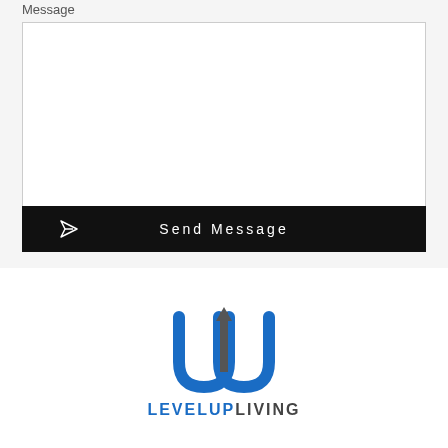Message
[Figure (screenshot): A large empty textarea input field with a white background and light gray border, with a resize handle in the bottom right corner.]
[Figure (other): A dark/black button with a paper plane icon on the left and text 'Send Message' in white centered, with wide letter spacing.]
[Figure (logo): Level Up Living logo: a stylized 'W' shape with an upward arrow in blue and gray, with text 'LEVELUPLIVING' below in blue and gray.]